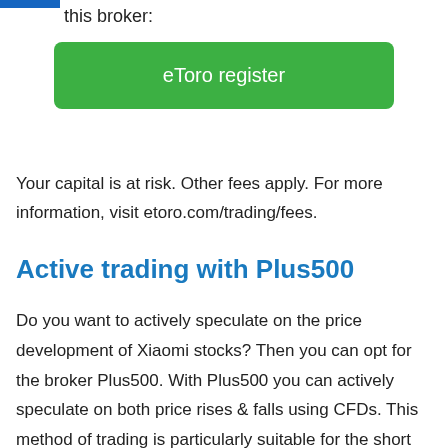this broker:
[Figure (other): Green button labeled 'eToro register']
Your capital is at risk. Other fees apply. For more information, visit etoro.com/trading/fees.
Active trading with Plus500
Do you want to actively speculate on the price development of Xiaomi stocks? Then you can opt for the broker Plus500. With Plus500 you can actively speculate on both price rises & falls using CFDs. This method of trading is particularly suitable for the short term. Use the button below to instantly open a free demo on Plus500: